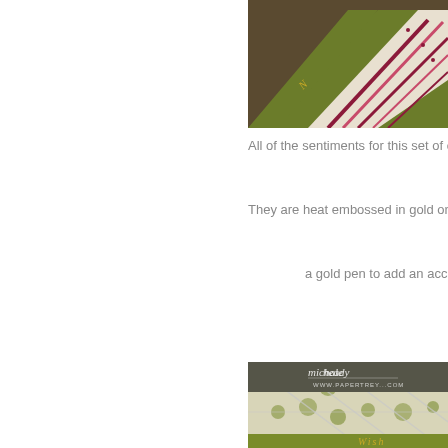[Figure (photo): Close-up of handmade cards with olive green, burgundy/pink striped patterned paper and gold embossed text, stacked on a wooden surface.]
All of the sentiments for this set of card
They are heat embossed in gold onto a
a gold pen to add an accent borde
[Figure (photo): Close-up of handmade card with acrylic/clear geometric star pattern overlay on olive green and cream floral patterned paper, with 'Michale Heady' signature and www.papertrey... watermark. Bottom shows olive green strip with gold embossed 'WISH' text.]